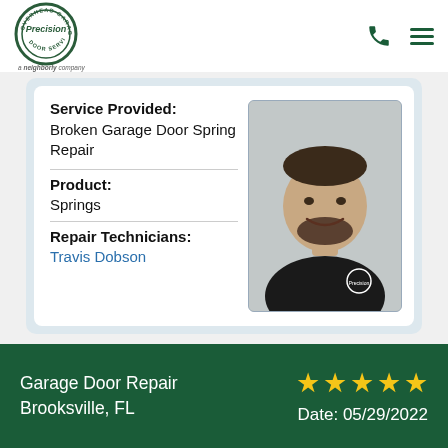[Figure (logo): Precision Door Service logo — circular badge with overhead garage text and 'a neighborly company' tagline below]
Service Provided:
Broken Garage Door Spring Repair
Product:
Springs
Repair Technicians:
Travis Dobson
[Figure (photo): Headshot photo of Travis Dobson, a male technician wearing a black Precision Door Service polo shirt, smiling against a grey background]
Garage Door Repair Brooksville, FL
★★★★★
Date: 05/29/2022